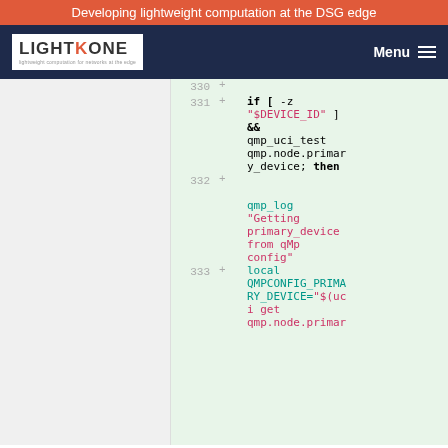Developing lightweight computation at the DSG edge
[Figure (screenshot): LightKone logo with nav bar showing Menu]
Code diff view showing shell script lines 330-333 with bash code including if [ -z "$DEVICE_ID" ] && qmp_uci_test qmp.node.primary_device; then, qmp_log "Getting primary_device from qMp config", local QMPCONFIG_PRIMARY_DEVICE="$(uci get qmp.node.primar